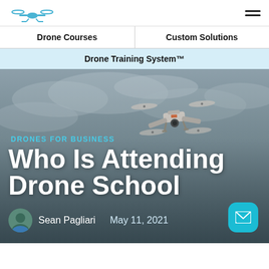Drone Training System logo and hamburger menu
Drone Courses | Custom Solutions
Drone Training System™
[Figure (photo): Drone quadcopter flying against cloudy sky background]
DRONES FOR BUSINESS
Who Is Attending Drone School
Sean Pagliari   May 11, 2021